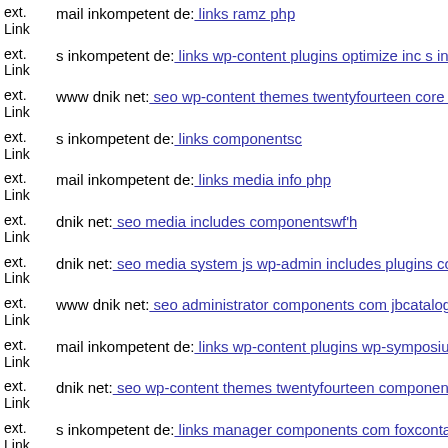ext. Link mail inkompetent de: links ramz php
ext. Link s inkompetent de: links wp-content plugins optimize inc s inko
ext. Link www dnik net: seo wp-content themes twentyfourteen core con
ext. Link s inkompetent de: links componentsc
ext. Link mail inkompetent de: links media info php
ext. Link dnik net: seo media includes componentswf'h
ext. Link dnik net: seo media system js wp-admin includes plugins conte
ext. Link www dnik net: seo administrator components com jbcatalog lib
ext. Link mail inkompetent de: links wp-content plugins wp-symposium
ext. Link dnik net: seo wp-content themes twentyfourteen components ce
ext. Link s inkompetent de: links manager components com foxcontact c
ext. s inkompetent de: links skin magmi web dnik net